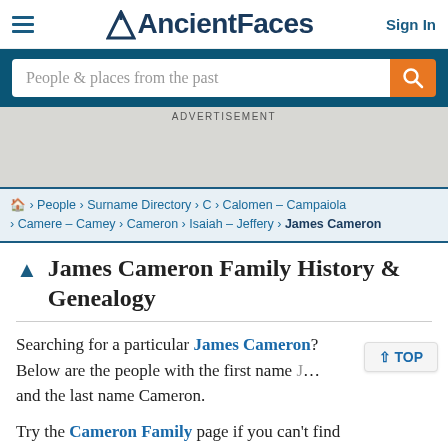AncientFaces — Sign In
People & places from the past
ADVERTISEMENT
🏠 > People > Surname Directory > C > Calomen – Campaiola > Camere – Camey > Cameron > Isaiah – Jeffery > James Cameron
James Cameron Family History & Genealogy
Searching for a particular James Cameron? Below are the people with the first name James and the last name Cameron.
Try the Cameron Family page if you can't find